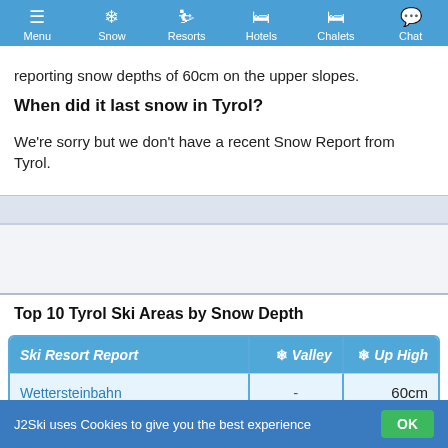Menu | Snow | Resorts | Hotels | Chalets | Chat
reporting snow depths of 60cm on the upper slopes.
When did it last snow in Tyrol?
We're sorry but we don't have a recent Snow Report from Tyrol.
Top 10 Tyrol Ski Areas by Snow Depth
| Ski Resort Report | ❄ Valley | ❄ Up High |
| --- | --- | --- |
| Wettersteinbahn | - | 60cm |
| Hintertux | - | 25cm |
| Tux - Finkenberg | - | 25cm |
J2Ski uses Cookies to give you the best experience